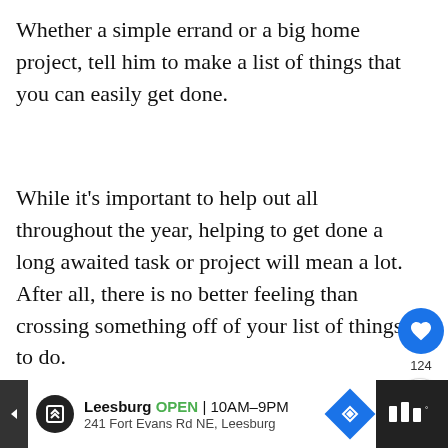Whether a simple errand or a big home project, tell him to make a list of things that you can easily get done.
While it's important to help out all throughout the year, helping to get done a long awaited task or project will mean a lot. After all, there is no better feeling than crossing something off of your list of things to do.
[Figure (infographic): Orange advertisement banner: 'You can help hungry kids. NO KID HUNGRY LEARN HOW' with a close X button]
[Figure (infographic): What's Next panel with thumbnail and text: 'Make A Free Sentimental...']
[Figure (infographic): Bottom advertisement bar for Leesburg store: OPEN 10AM-9PM, 241 Fort Evans Rd NE, Leesburg with navigation diamond icon and dark right panel]